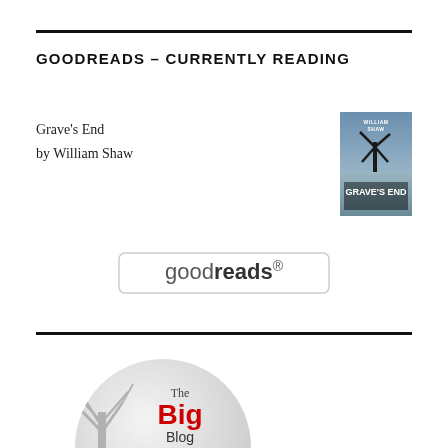GOODREADS – CURRENTLY READING
Grave's End
by William Shaw
[Figure (logo): Book cover for Grave's End by William Shaw]
[Figure (logo): Goodreads button/logo with rounded rectangle border]
[Figure (illustration): The Big Blog Collection circular badge with tree illustration]